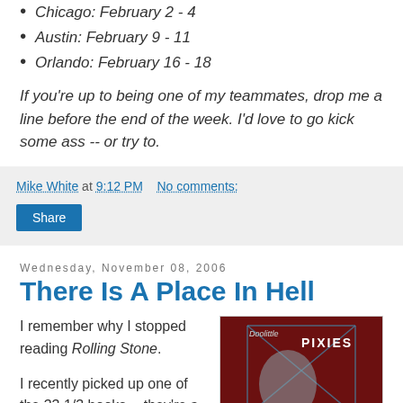Chicago: February 2 - 4
Austin: February 9 - 11
Orlando: February 16 - 18
If you're up to being one of my teammates, drop me a line before the end of the week. I'd love to go kick some ass -- or try to.
Mike White at 9:12 PM   No comments:
Wednesday, November 08, 2006
There Is A Place In Hell
I remember why I stopped reading Rolling Stone.
I recently picked up one of the 33 1/3 books -- they're a
[Figure (photo): Album cover of Pixies 'Doolittle']